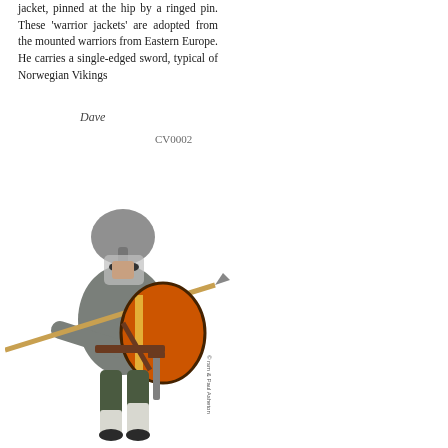jacket, pinned at the hip by a ringed pin. These 'warrior jackets' are adopted from the mounted warriors from Eastern Europe. He carries a single-edged sword, typical of Norwegian Vikings
Dave
CV0002
[Figure (logo): Regia Anglorum logo with crown and stylized text]
[Figure (photo): A person dressed as a Viking warrior wearing a helmet with face mask, holding a spear and a round shield, in a fighting stance. The figure wears grey/green clothing and leather straps.]
© ... rsm & Paul Asheton